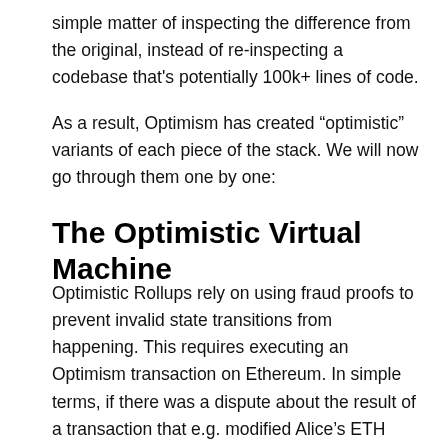simple matter of inspecting the difference from the original, instead of re-inspecting a codebase that's potentially 100k+ lines of code.
As a result, Optimism has created “optimistic” variants of each piece of the stack. We will now go through them one by one:
The Optimistic Virtual Machine
Optimistic Rollups rely on using fraud proofs to prevent invalid state transitions from happening. This requires executing an Optimism transaction on Ethereum. In simple terms, if there was a dispute about the result of a transaction that e.g. modified Alice’s ETH balance, Alice would try to replay that exact transaction on Ethereum to demonstrate the correct result there1. However, certain EVM opcodes would not behave the same on L1 and L2 if they rely on system-wide